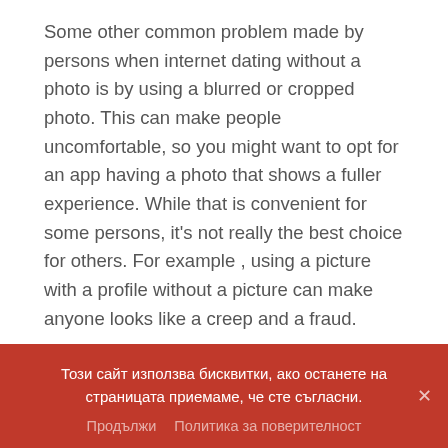Some other common problem made by persons when internet dating without a photo is by using a blurred or cropped photo. This can make people uncomfortable, so you might want to opt for an app having a photo that shows a fuller experience. While that is convenient for some persons, it's not really the best choice for others. For example , using a picture with a profile without a picture can make anyone looks like a creep and a fraud.
Images are not the simplest way to communicate with persons online. Photos can
Този сайт използва бисквитки, ако останете на страницата приемаме, че сте съгласни.
Продължи   Политика за поверителност